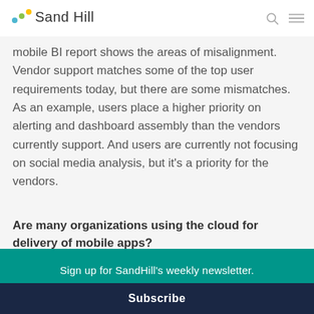Sand Hill
mobile BI report shows the areas of misalignment. Vendor support matches some of the top user requirements today, but there are some mismatches. As an example, users place a higher priority on alerting and dashboard assembly than the vendors currently support. And users are currently not focusing on social media analysis, but it's a priority for the vendors.
Are many organizations using the cloud for delivery of mobile apps?
Sign up for SandHill's weekly newsletter.
Your email address..
Subscribe